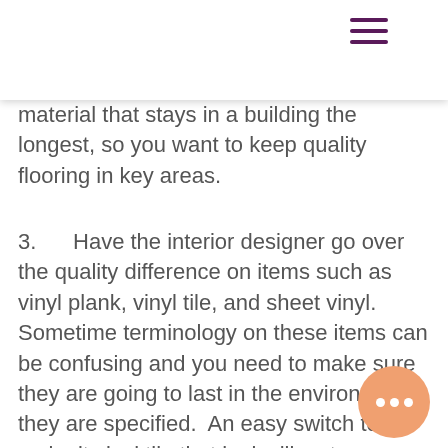[navigation bar with hamburger menu]
material that stays in a building the longest, so you want to keep quality flooring in key areas.
3.      Have the interior designer go over the quality difference on items such as vinyl plank, vinyl tile, and sheet vinyl. Sometime terminology on these items can be confusing and you need to make sure they are going to last in the environment they are specified.  An easy switch to make it vinyl tile that looks like stone - porcelain tile. This can save a lot money.  If tile is required per code in